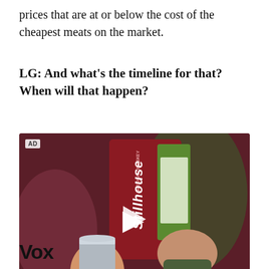prices that are at or below the cost of the cheapest meats on the market.
LG: And what's the timeline for that? When will that happen?
[Figure (photo): Advertisement video thumbnail showing hands pouring Stillhouse whiskey from a red carton-style container into a stainless steel cup, with a play button overlay and AD badge in the top left corner.]
Vox